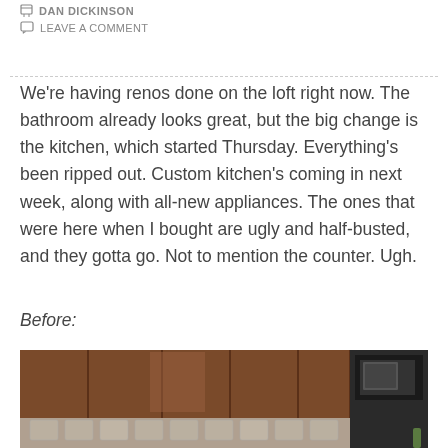DAN DICKINSON
LEAVE A COMMENT
We're having renos done on the loft right now. The bathroom already looks great, but the big change is the kitchen, which started Thursday. Everything's been ripped out. Custom kitchen's coming in next week, along with all-new appliances. The ones that were here when I bought are ugly and half-busted, and they gotta go. Not to mention the counter. Ugh.
Before:
[Figure (photo): Before photo of a kitchen showing dark wood upper cabinets with a built-in black microwave on the right side, and dark appliances visible at the bottom.]